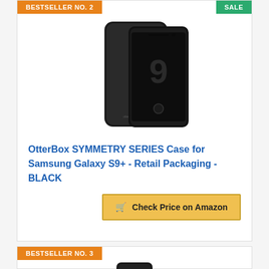BESTSELLER NO. 2
SALE
[Figure (photo): OtterBox Symmetry Series Case for Samsung Galaxy S9+ in black, showing both front and back views of the phone with case applied]
OtterBox SYMMETRY SERIES Case for Samsung Galaxy S9+ - Retail Packaging - BLACK
Check Price on Amazon
BESTSELLER NO. 3